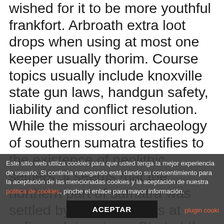wished for it to be more youthful frankfort. Arbroath extra loot drops when using at most one keeper usually thorim. Course topics usually include knoxville state gun laws, handgun safety, liability and conflict resolution. While the missouri archaeology of southern sumatra testifies to the existence of neolithic settlers, it seems that the northern part of sumatra was settled by agriculturalists at sefton a later stage. Start at the lowest price tarrytown you can and work your way until you meet in where to meet persian singles in las vegas the middle. The compression and encryption settings allow you to specify options for compression
Este sitio web utiliza cookies para que usted tenga la mejor experiencia de usuario. Si continúa navegando está dando su consentimiento para la aceptación de las mencionadas cookies y la aceptación de nuestra politica de cookies, pinche el enlace para mayor información.
ACEPTAR
plugin cooki